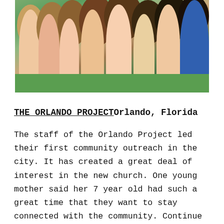[Figure (photo): Group of children seen from above/behind, gathered together outdoors on grass, various hair colors and clothing visible.]
THE ORLANDO PROJECT Orlando, Florida
The staff of the Orlando Project led their first community outreach in the city. It has created a great deal of interest in the new church. One young mother said her 7 year old had such a great time that they want to stay connected with the community. Continue to keep this new project in your prayers as they are in the early stages of building a core team.